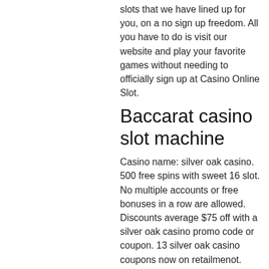slots that we have lined up for you, on a no sign up freedom. All you have to do is visit our website and play your favorite games without needing to officially sign up at Casino Online Slot.
Baccarat casino slot machine
Casino name: silver oak casino. 500 free spins with sweet 16 slot. No multiple accounts or free bonuses in a row are allowed. Discounts average $75 off with a silver oak casino promo code or coupon. 13 silver oak casino coupons now on retailmenot. Free spins bonus on slots, no deposit required, massive jackpots and 250 online casino games at silver oak online casino. All silver oak casino free spins for 2022! play slots at silver oak casino with free spins no deposit, exclusive for spinmybonus. Silver oak casino no deposit free spins 2022